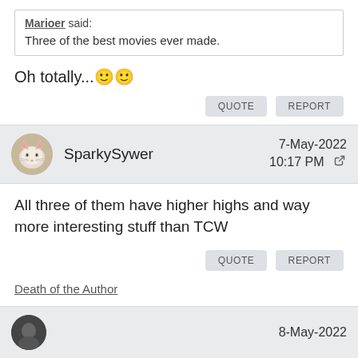Marioer said: Three of the best movies ever made.
Oh totally...
QUOTE | REPORT
SparkySywer — 7-May-2022 10:17 PM
All three of them have higher highs and way more interesting stuff than TCW
QUOTE | REPORT
Death of the Author
8-May-2022